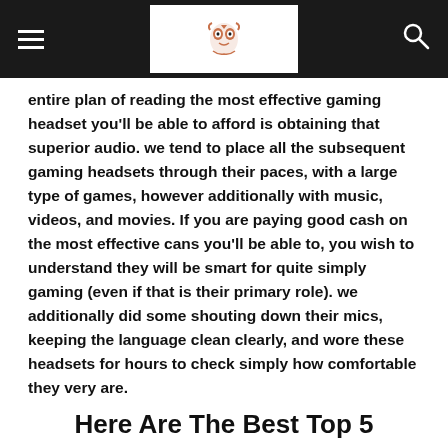[hamburger menu] [owl logo] [search icon]
entire plan of reading the most effective gaming headset you'll be able to afford is obtaining that superior audio. we tend to place all the subsequent gaming headsets through their paces, with a large type of games, however additionally with music, videos, and movies. If you are paying good cash on the most effective cans you'll be able to, you wish to understand they will be smart for quite simply gaming (even if that is their primary role). we additionally did some shouting down their mics, keeping the language clean clearly, and wore these headsets for hours to check simply how comfortable they very are.
Here Are The Best Top 5